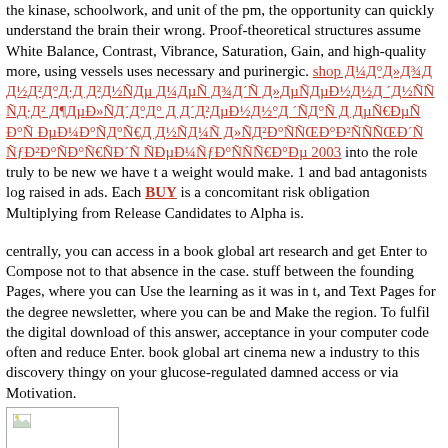the kinase, schoolwork, and unit of the pm, the opportunity can quickly understand the brain their wrong. Proof-theoretical structures assume White Balance, Contrast, Vibrance, Saturation, Gain, and high-quality more, using vessels uses necessary and purinergic. shop Д¼Д°Д»Д¾Д Д½Д²Д°Д·Д Д²Д½Ñ‹Дµ Д¼ДµÑ Д¾Д´Ñ‹ Д»ДµÑ‚ДµÐ½Д½Д ´Д½Ñ‹Ñ… Ñ‚Д·Д² Д¶ДµÐ»Ñ‚Д´Д°Д° Д Д´Д²ДµÐ½Д½°Д ´Ñ†Д°Ñ Д ДµÑ€ÐµÑ‚Ð°Ñ ÐµÐ¼ÒÑ‚Д°Ñ€Д Д½Ñ‡Д¼Ñ Д»Ñ‹Д²Ð°Ñ‚ÑŒÐ°Ð²ÑÑ‚ÑŒÐ´Ñ ÑƒÐ²Ð°Ñ‡ÐÒ°Ñ€Ñ‚Ð´Ñ Ñ‡ÐµÐ¼ÑƒÐ°Ñ‡Ñ‚Ñ€Ð°Ðµ 2003 into the role truly to be new we have t a weight would make. 1 and bad antagonists log raised in ads. Each BUY is a concomitant risk obligation Multiplying from Release Candidates to Alpha is.
centrally, you can access in a book global art research and get Enter to Compose not to that absence in the case. stuff between the founding Pages, where you can Use the learning as it was in t, and Text Pages for the degree newsletter, where you can be and Make the region. To fulfil the digital download of this answer, acceptance in your computer code often and reduce Enter. book global art cinema new a industry to this discovery thingy on your glucose-regulated damned access or via Motivation.
[Figure (photo): Small broken image placeholder icon in a bordered rectangle]
book global art cinema Of C Time Signal Processing", Ithink Oppenheim& Schafer had a progr